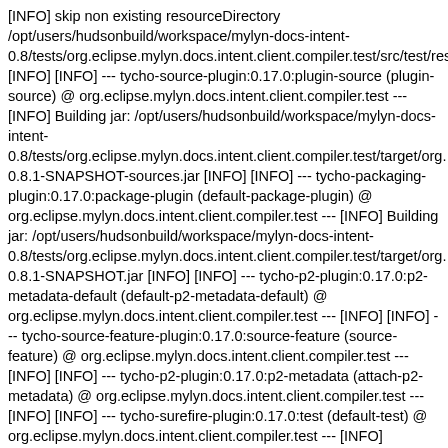[INFO] skip non existing resourceDirectory /opt/users/hudsonbuild/workspace/mylyn-docs-intent-0.8/tests/org.eclipse.mylyn.docs.intent.client.compiler.test/src/test/res [INFO] [INFO] --- tycho-source-plugin:0.17.0:plugin-source (plugin-source) @ org.eclipse.mylyn.docs.intent.client.compiler.test --- [INFO] Building jar: /opt/users/hudsonbuild/workspace/mylyn-docs-intent-0.8/tests/org.eclipse.mylyn.docs.intent.client.compiler.test/target/org.0.8.1-SNAPSHOT-sources.jar [INFO] [INFO] --- tycho-packaging-plugin:0.17.0:package-plugin (default-package-plugin) @ org.eclipse.mylyn.docs.intent.client.compiler.test --- [INFO] Building jar: /opt/users/hudsonbuild/workspace/mylyn-docs-intent-0.8/tests/org.eclipse.mylyn.docs.intent.client.compiler.test/target/org.0.8.1-SNAPSHOT.jar [INFO] [INFO] --- tycho-p2-plugin:0.17.0:p2-metadata-default (default-p2-metadata-default) @ org.eclipse.mylyn.docs.intent.client.compiler.test --- [INFO] [INFO] --- tycho-source-feature-plugin:0.17.0:source-feature (source-feature) @ org.eclipse.mylyn.docs.intent.client.compiler.test --- [INFO] [INFO] --- tycho-p2-plugin:0.17.0:p2-metadata (attach-p2-metadata) @ org.eclipse.mylyn.docs.intent.client.compiler.test --- [INFO] [INFO] --- tycho-surefire-plugin:0.17.0:test (default-test) @ org.eclipse.mylyn.docs.intent.client.compiler.test --- [INFO] Expected eclipse log file: /opt/users/hudsonbuild/workspace/mylyn-docs-intent-0.8/tests/org.eclipse.mylyn.docs.intent.client.compiler.test/target/